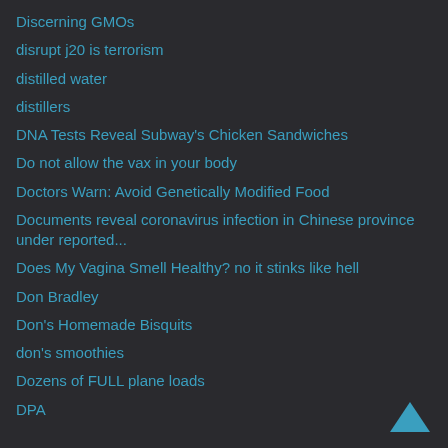Discerning GMOs
disrupt j20 is terrorism
distilled water
distillers
DNA Tests Reveal Subway's Chicken Sandwiches
Do not allow the vax in your body
Doctors Warn: Avoid Genetically Modified Food
Documents reveal coronavirus infection in Chinese province under reported...
Does My Vagina Smell Healthy? no it stinks like hell
Don Bradley
Don's Homemade Bisquits
don's smoothies
Dozens of FULL plane loads
DPA